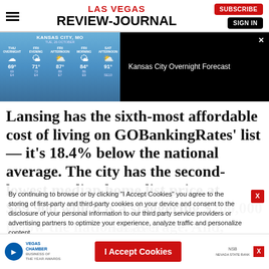LAS VEGAS REVIEW-JOURNAL
[Figure (screenshot): Kansas City, MO weather forecast panel showing THU through SAT with temperatures 69°, 71°, 87°, 84°, 91° and a video panel showing Kansas City Overnight Forecast on black background]
Lansing has the sixth-most affordable cost of living on GOBankingRates' list — it's 18.4% below the national average. The city has the second-lowest median home list price at $89,900 which is a staggering $200,000 below the national average. And, Lansing's median rent is $523
By continuing to browse or by clicking "I Accept Cookies" you agree to the storing of first-party and third-party cookies on your device and consent to the disclosure of your personal information to our third party service providers or advertising partners to optimize your experience, analyze traffic and personalize content.
Thursday, Oct. 13
I Accept Cookies